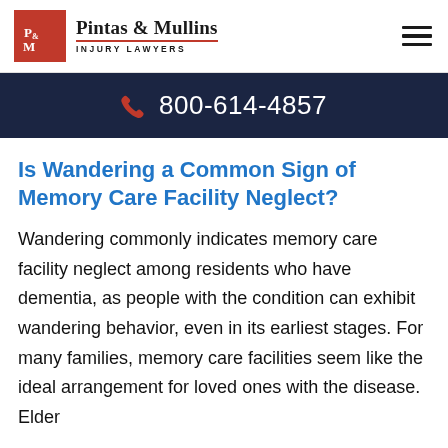Pintas & Mullins INJURY LAWYERS
800-614-4857
Is Wandering a Common Sign of Memory Care Facility Neglect?
Wandering commonly indicates memory care facility neglect among residents who have dementia, as people with the condition can exhibit wandering behavior, even in its earliest stages. For many families, memory care facilities seem like the ideal arrangement for loved ones with the disease. Elder